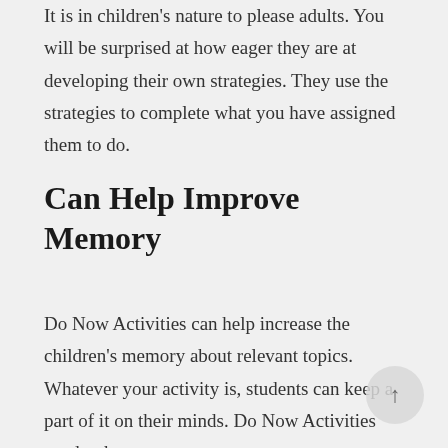It is in children's nature to please adults. You will be surprised at how eager they are at developing their own strategies. They use the strategies to complete what you have assigned them to do.
Can Help Improve Memory
Do Now Activities can help increase the children's memory about relevant topics. Whatever your activity is, students can keep a part of it on their minds. Do Now Activities need to be